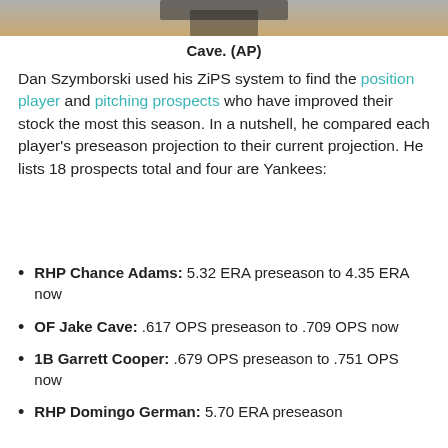[Figure (photo): Top portion of a baseball player photo, cropped at the bottom showing a player in a white uniform]
Cave. (AP)
Dan Szymborski used his ZiPS system to find the position player and pitching prospects who have improved their stock the most this season. In a nutshell, he compared each player's preseason projection to their current projection. He lists 18 prospects total and four are Yankees:
RHP Chance Adams: 5.32 ERA preseason to 4.35 ERA now
OF Jake Cave: .617 OPS preseason to .709 OPS now
1B Garrett Cooper: .679 OPS preseason to .751 OPS now
RHP Domingo German: 5.70 ERA preseason